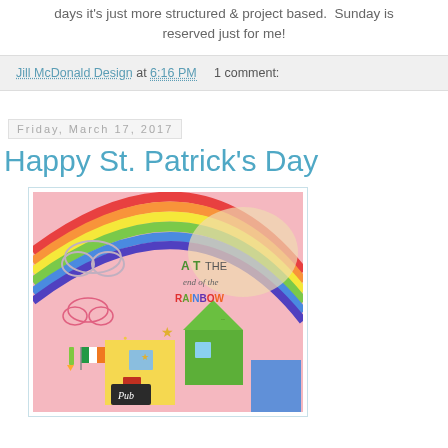days it's just more structured & project based. Sunday is reserved just for me!
Jill McDonald Design at 6:16 PM    1 comment:
Friday, March 17, 2017
Happy St. Patrick's Day
[Figure (illustration): Colorful children's illustration showing buildings (a pub and a green house) with a rainbow arching over them and text reading 'AT THE end of the RAINBOW'. Pink background with stars and an Irish flag.]